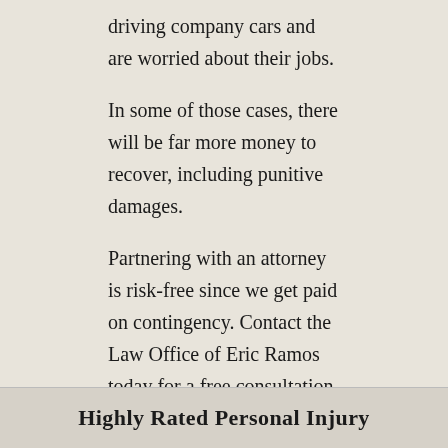driving company cars and are worried about their jobs.
In some of those cases, there will be far more money to recover, including punitive damages.
Partnering with an attorney is risk-free since we get paid on contingency. Contact the Law Office of Eric Ramos today for a free consultation, and to get the help you need with your case.
Highly Rated Personal Injury